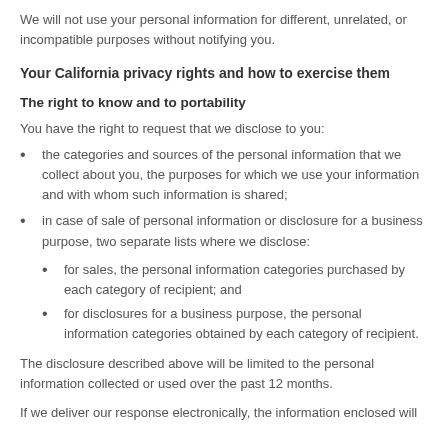threatened or we suffer an actual damage.
We will not use your personal information for different, unrelated, or incompatible purposes without notifying you.
Your California privacy rights and how to exercise them
The right to know and to portability
You have the right to request that we disclose to you:
the categories and sources of the personal information that we collect about you, the purposes for which we use your information and with whom such information is shared;
in case of sale of personal information or disclosure for a business purpose, two separate lists where we disclose:
for sales, the personal information categories purchased by each category of recipient; and
for disclosures for a business purpose, the personal information categories obtained by each category of recipient.
The disclosure described above will be limited to the personal information collected or used over the past 12 months.
If we deliver our response electronically, the information enclosed will